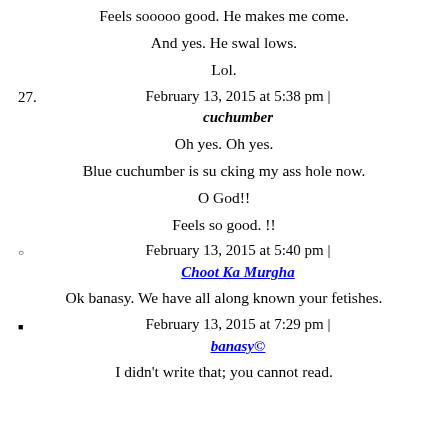Feels sooooo good. He makes me come.
And yes. He swal lows.
Lol.
27.  February 13, 2015 at 5:38 pm | cuchumber
Oh yes. Oh yes.
Blue cuchumber is su cking my ass hole now.
O God!!
Feels so good. !!
○  February 13, 2015 at 5:40 pm | Choot Ka Murgha
Ok banasy. We have all along known your fetishes.
■  February 13, 2015 at 7:29 pm | banasy©
I didn't write that; you cannot read.